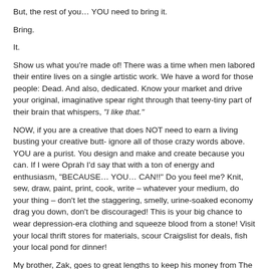But, the rest of you… YOU need to bring it.
Bring.
It.
Show us what you’re made of! There was a time when men labored their entire lives on a single artistic work. We have a word for those people: Dead. And also, dedicated. Know your market and drive your original, imaginative spear right through that teeny-tiny part of their brain that whispers, “I like that.”
NOW, if you are a creative that does NOT need to earn a living busting your creative butt- ignore all of those crazy words above. YOU are a purist. You design and make and create because you can. If I were Oprah I’d say that with a ton of energy and enthusiasm, “BECAUSE… YOU… CAN!!” Do you feel me? Knit, sew, draw, paint, print, cook, write – whatever your medium, do your thing – don’t let the staggering, smelly, urine-soaked economy drag you down, don’t be discouraged! This is your big chance to wear depression-era clothing and squeeze blood from a stone! Visit your local thrift stores for materials, scour Craigslist for deals, fish your local pond for dinner!
My brother, Zak, goes to great lengths to keep his money from The Man. (Offshore accounts, blee, blah, blah) Salvaging wood from broken-down